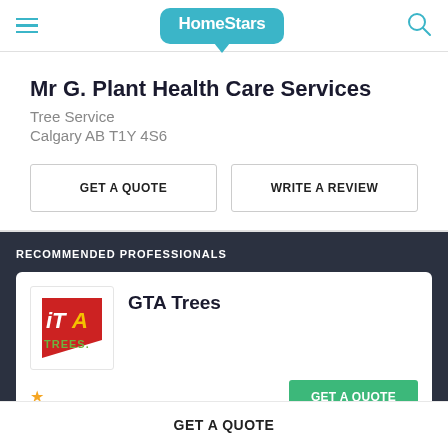HomeStars
Mr G. Plant Health Care Services
Tree Service
Calgary AB T1Y 4S6
GET A QUOTE   WRITE A REVIEW
RECOMMENDED PROFESSIONALS
GTA Trees
GET A QUOTE